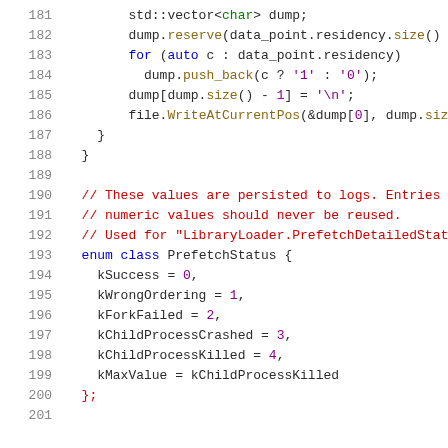[Figure (screenshot): Source code snippet in C++ showing lines 181-201. Lines 181-188 show vector dump logic, lines 189 blank, lines 190-192 comments, lines 193-200 enum class PrefetchStatus definition, line 201 blank.]